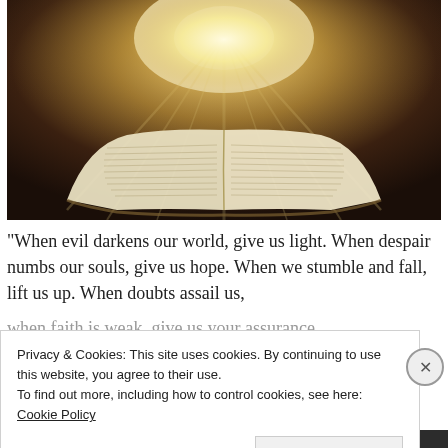[Figure (photo): An open Bible with bright rays of divine light emanating from the pages against a dark background]
“When evil darkens our world, give us light. When despair numbs our souls, give us hope. When we stumble and fall, lift us up. When doubts assail us,
Privacy & Cookies: This site uses cookies. By continuing to use this website, you agree to their use.
To find out more, including how to control cookies, see here: Cookie Policy
Close and accept